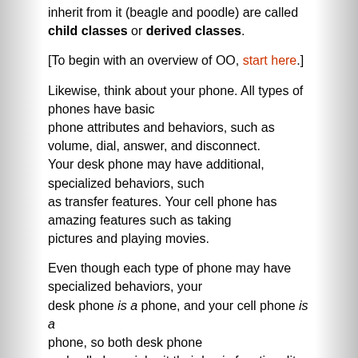inherit from it (beagle and poodle) are called child classes or derived classes.
[To begin with an overview of OO, start here.]
Likewise, think about your phone. All types of phones have basic phone attributes and behaviors, such as volume, dial, answer, and disconnect. Your desk phone may have additional, specialized behaviors, such as transfer features. Your cell phone has amazing features such as taking pictures and playing movies.
Even though each type of phone may have specialized behaviors, your desk phone is a phone, and your cell phone is a phone, so both desk phone and cell phone inherit their basic functionality from phone. Phone is the parent (or base) class, and desk phone and cell